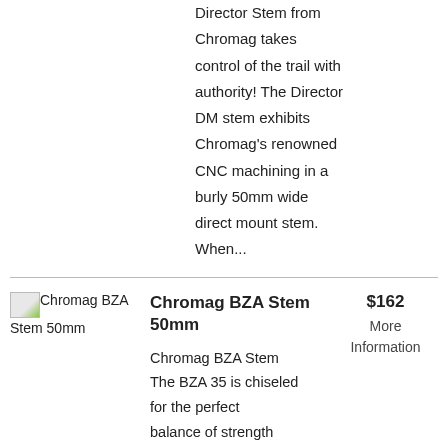Director Stem from Chromag takes control of the trail with authority! The Director DM stem exhibits Chromag's renowned CNC machining in a burly 50mm wide direct mount stem. When...
[Figure (photo): Broken image placeholder for Chromag BZA Stem 50mm]
Chromag BZA Stem 50mm
$162
More Information
Chromag BZA Stem The BZA 35 is chiseled for the perfect balance of strength and miniscule weight.